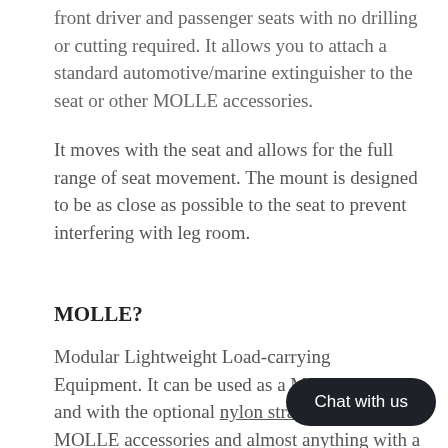front driver and passenger seats with no drilling or cutting required. It allows you to attach a standard automotive/marine extinguisher to the seat or other MOLLE accessories.
It moves with the seat and allows for the full range of seat movement. The mount is designed to be as close as possible to the seat to prevent interfering with leg room.
MOLLE?
Modular Lightweight Load-carrying Equipment. It can be used as a MOLLE panel and with the optional nylon strap, you can add MOLLE accessories and almost anything with a belt clip (think holsters, cases, etc.).